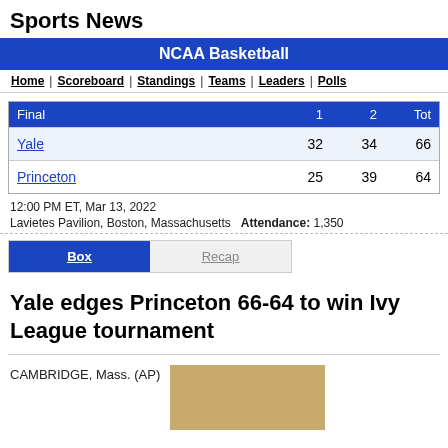Sports News
NCAA Basketball
Home | Scoreboard | Standings | Teams | Leaders | Polls
| Final | 1 | 2 | Tot |
| --- | --- | --- | --- |
| Yale | 32 | 34 | 66 |
| Princeton | 25 | 39 | 64 |
12:00 PM ET, Mar 13, 2022
Lavietes Pavilion, Boston, Massachusetts   Attendance: 1,350
Box   Recap
Yale edges Princeton 66-64 to win Ivy League tournament
CAMBRIDGE, Mass. (AP)